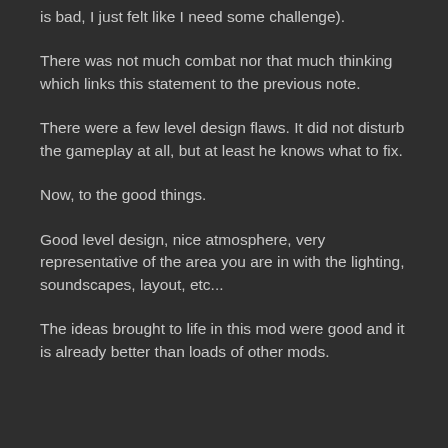is bad, I just felt like I need some challenge).
There was not much combat nor that much thinking which links this statement to the previous note.
There were a few level design flaws. It did not disturb the gameplay at all, but at least he knows what to fix.
Now, to the good things.
Good level design, nice atmosphere, very representative of the area you are in with the lighting, soundscapes, layout, etc...
The ideas brought to life in this mod were good and it is already better than loads of other mods.